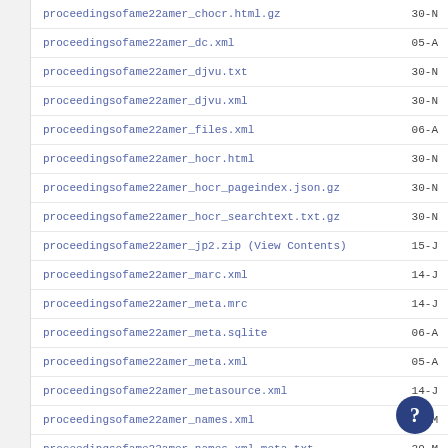proceedingsofame22amer_chocr.html.gz    30-N
proceedingsofame22amer_dc.xml    05-A
proceedingsofame22amer_djvu.txt    30-N
proceedingsofame22amer_djvu.xml    30-N
proceedingsofame22amer_files.xml    06-A
proceedingsofame22amer_hocr.html    30-N
proceedingsofame22amer_hocr_pageindex.json.gz    30-N
proceedingsofame22amer_hocr_searchtext.txt.gz    30-N
proceedingsofame22amer_jp2.zip (View Contents)    15-J
proceedingsofame22amer_marc.xml    14-J
proceedingsofame22amer_meta.mrc    14-J
proceedingsofame22amer_meta.sqlite    06-A
proceedingsofame22amer_meta.xml    05-A
proceedingsofame22amer_metasource.xml    14-J
proceedingsofame22amer_names.xml    29-M
proceedingsofame22amer_names.xml_meta.txt    29-M
proceedingsofame22amer_orig_jp2.tar (View Contents)    15-J
proceedingsofame22amer_page_numbers.json    30-N
proceedingsofame22amer_scandata.xml    15-J
proceedingsofame22amer_scanfactors.xml    01-D